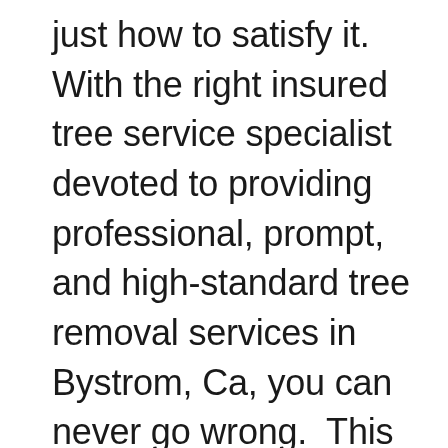just how to satisfy it. With the right insured tree service specialist devoted to providing professional, prompt, and high-standard tree removal services in Bystrom, Ca, you can never go wrong.  This is why we offer the best professional tree trimming, tree removal, and stump removal services for your residential and commercial property at a highly affordable price. With our